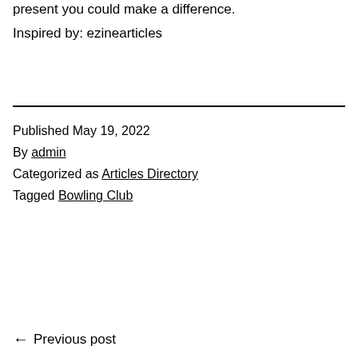present you could make a difference.
Inspired by: ezinearticles
Published May 19, 2022
By admin
Categorized as Articles Directory
Tagged Bowling Club
← Previous post